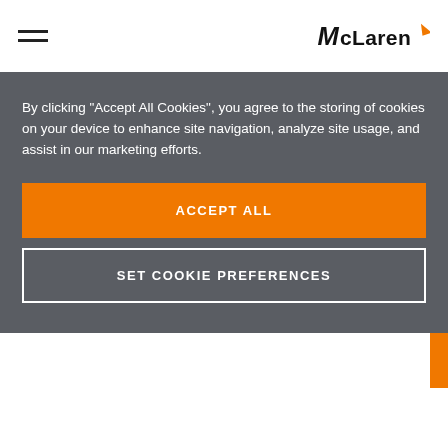McLaren
By clicking “Accept All Cookies”, you agree to the storing of cookies on your device to enhance site navigation, analyze site usage, and assist in our marketing efforts.
ACCEPT ALL
SET COOKIE PREFERENCES
going to give up so easily. However, Senna knew that, even in the wet, the Ferrari couldn’t maintain front-running pace with its heavier fuel consumption, so he showed some patience
For Prost meanwhile the race turned into a